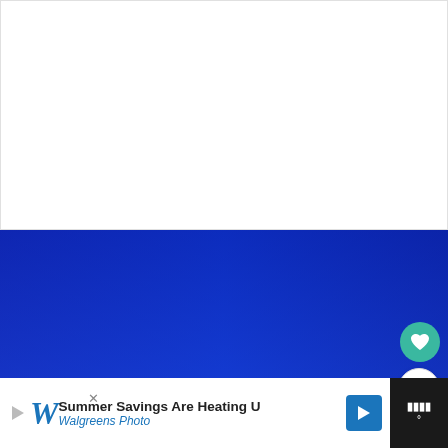[Figure (photo): White/blank area at top of page, part of a webpage layout]
[Figure (photo): Photograph of a golden golf trophy (Ryder Cup) against a vivid deep blue sky, with the top portion of the trophy and its golfer figurine visible. Two flagpoles with blue flags are partially visible on the sides.]
Summer Savings Are Heating U
Walgreens Photo